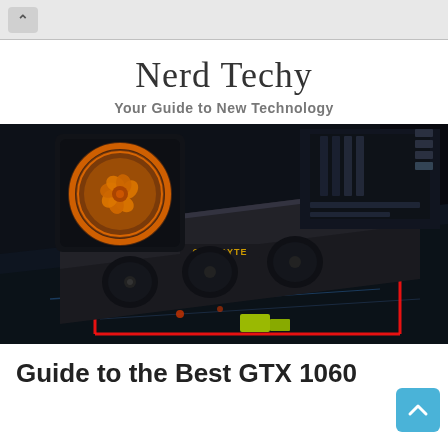Nerd Techy
Your Guide to New Technology
[Figure (photo): A gaming PC interior with an illuminated orange/yellow fan on the left, a large graphics card with red LED outlining in the center-foreground, a motherboard visible in the background with RGB lighting, shot from an artistic angle in a dark setting.]
Guide to the Best GTX 1060